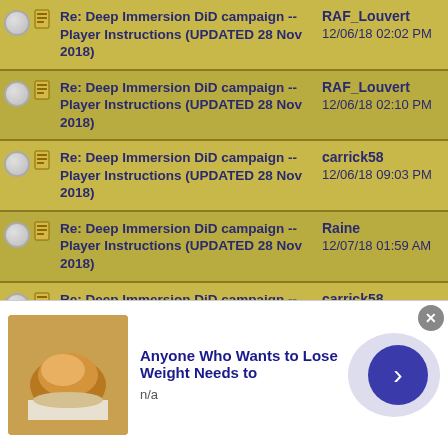Re: Deep Immersion DiD campaign -- Player Instructions (UPDATED 28 Nov 2018) | RAF_Louvert | 12/06/18 02:02 PM
Re: Deep Immersion DiD campaign -- Player Instructions (UPDATED 28 Nov 2018) | RAF_Louvert | 12/06/18 02:10 PM
Re: Deep Immersion DiD campaign -- Player Instructions (UPDATED 28 Nov 2018) | carrick58 | 12/06/18 09:03 PM
Re: Deep Immersion DiD campaign -- Player Instructions (UPDATED 28 Nov 2018) | Raine | 12/07/18 01:59 AM
Re: Deep Immersion DiD campaign -- Player Instructions (UPDATED 28 Nov 2018) | carrick58 | 12/07/18 04:39 PM
Re: Deep Immersion DiD campaign -- Player Instructions (UPDATED 28 Nov 2018) | carrick58 | 12/07/18 08:04 PM
[Figure (screenshot): Advertisement banner: food image with text 'Anyone Who Wants to Lose Weight Needs to', subtext 'n/a', with arrow button]